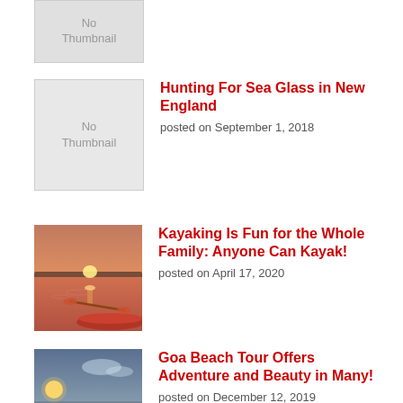[Figure (photo): Partial top article with 'No Thumbnail' placeholder image cropped at top]
[Figure (photo): No Thumbnail placeholder image for 'Hunting For Sea Glass in New England' article]
Hunting For Sea Glass in New England
posted on September 1, 2018
[Figure (photo): Sunset kayaking photo with orange-red tones for 'Kayaking Is Fun for the Whole Family' article]
Kayaking Is Fun for the Whole Family: Anyone Can Kayak!
posted on April 17, 2020
[Figure (photo): Goa beach sunset with umbrella and silhouettes photo]
Goa Beach Tour Offers Adventure and Beauty in Many!
posted on December 12, 2019